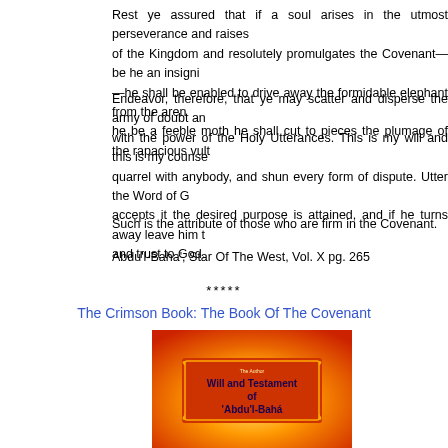Rest ye assured that if a soul arises in the utmost perseverance and raises of the Kingdom and resolutely promulgates the Covenant—be he an insigni—he shall be enabled to drive away the formidable elephant from the aren he be a feeble moth he shall cut to pieces the plumage of the rapacious vult
Endeavor, therefore, that ye may scatter and disperse the army of doubt an with the power of the Holy Utterances. This is my will and this is my counse quarrel with anybody, and shun every form of dispute. Utter the Word of G accepts it the desired purpose is attained, and if he turns away leave him t and trust to God.
Such is the attribute of those who are firm in the Covenant.
Abdu'l-Baha', Star Of The West, Vol. X pg. 265
*****
The Crimson Book: The Book Of The Covenant
[Figure (photo): Book cover image of 'Will and Testament of Abdu'l-Baha' with orange and yellow gradient background]